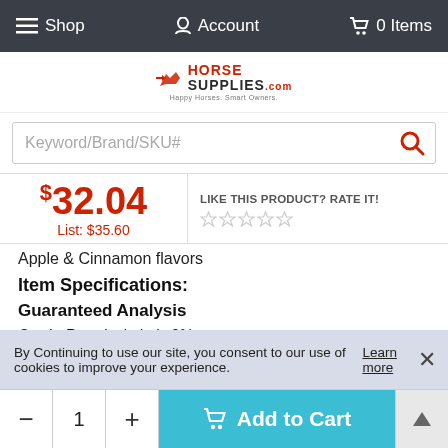Shop   Account   0 Items
[Figure (logo): HorseSupplies.com logo with red horse icon and tagline 'Happy Horses. Smart Owners.']
Keyword/Brand/SKU#
$32.04  List: $35.60
LIKE THIS PRODUCT? RATE IT!
Apple & Cinnamon flavors
Item Specifications:
Guaranteed Analysis
Crude Protein (min.): 0%
Crude Fat (min.): 0%
Crude Fiber (min.): 0.5%
By Continuing to use our site, you consent to our use of cookies to improve your experience. Learn more
- 1 +  Add to Cart